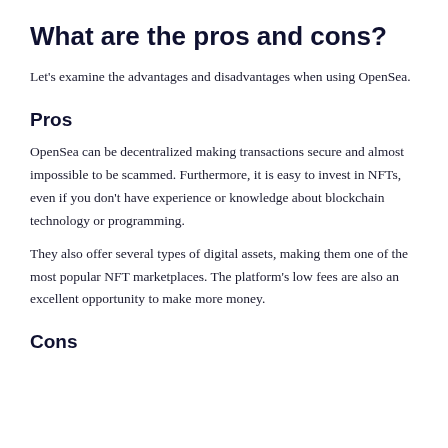What are the pros and cons?
Let's examine the advantages and disadvantages when using OpenSea.
Pros
OpenSea can be decentralized making transactions secure and almost impossible to be scammed. Furthermore, it is easy to invest in NFTs, even if you don't have experience or knowledge about blockchain technology or programming.
They also offer several types of digital assets, making them one of the most popular NFT marketplaces. The platform's low fees are also an excellent opportunity to make more money.
Cons